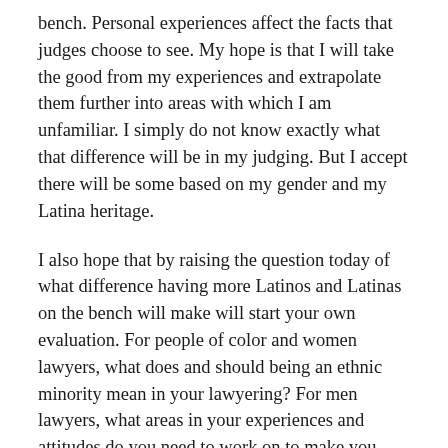bench. Personal experiences affect the facts that judges choose to see. My hope is that I will take the good from my experiences and extrapolate them further into areas with which I am unfamiliar. I simply do not know exactly what that difference will be in my judging. But I accept there will be some based on my gender and my Latina heritage.
I also hope that by raising the question today of what difference having more Latinos and Latinas on the bench will make will start your own evaluation. For people of color and women lawyers, what does and should being an ethnic minority mean in your lawyering? For men lawyers, what areas in your experiences and attitudes do you need to work on to make you capable of reaching those great moments of enlightenment which other men in different circumstances have been able to reach. For all of us, how do change the facts that in every task force study of gender and race bias in the courts, women and people of color, lawyers and judges alike, report in significantly higher